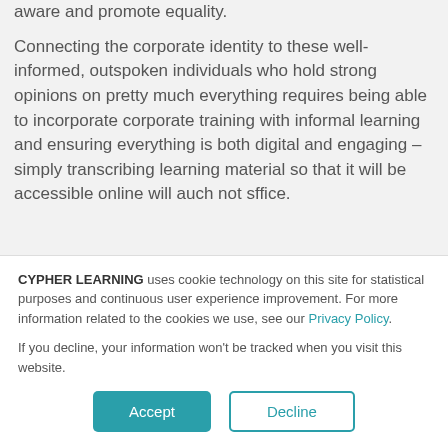It has to be politically correct, environmentally aware and promote equality.
Connecting the corporate identity to these well-informed, outspoken individuals who hold strong opinions on pretty much everything requires being able to incorporate corporate training with informal learning and ensuring everything is both digital and engaging – simply transcribing learning material so that it will be accessible online will most not suffice.
CYPHER LEARNING uses cookie technology on this site for statistical purposes and continuous user experience improvement. For more information related to the cookies we use, see our Privacy Policy.
If you decline, your information won't be tracked when you visit this website.